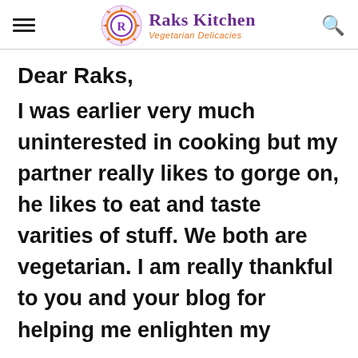Raks Kitchen – Vegetarian Delicacies
Dear Raks,
I was earlier very much uninterested in cooking but my partner really likes to gorge on, he likes to eat and taste varities of stuff. We both are vegetarian. I am really thankful to you and your blog for helping me enlighten my